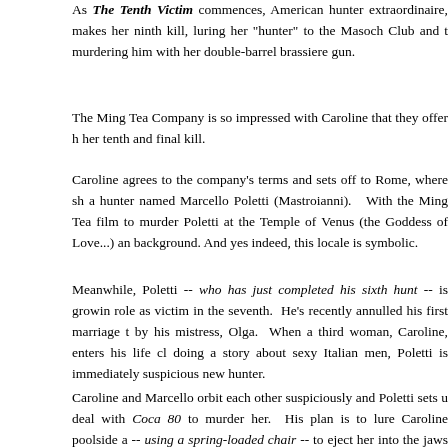As The Tenth Victim commences, American hunter extraordinaire, makes her ninth kill, luring her "hunter" to the Masoch Club and murdering him with her double-barrel brassiere gun.
The Ming Tea Company is so impressed with Caroline that they offer her tenth and final kill.
Caroline agrees to the company's terms and sets off to Rome, where she meets a hunter named Marcello Poletti (Mastroianni). With the Ming Tea film crew to murder Poletti at the Temple of Venus (the Goddess of Love...) as the background. And yes indeed, this locale is symbolic.
Meanwhile, Poletti -- who has just completed his sixth hunt -- is growing into his role as victim in the seventh. He's recently annulled his first marriage to be with by his mistress, Olga. When a third woman, Caroline, enters his life claiming to be doing a story about sexy Italian men, Poletti is immediately suspicious she is his new hunter.
Caroline and Marcello orbit each other suspiciously and Poletti sets up a deal with Coca 80 to murder her. His plan is to lure Caroline poolside and use -- using a spring-loaded chair -- to eject her into the jaws of a man-eating shark. Poletti would look to the camera and say "You always win with Coca 80."
Things don't go exactly as planned, however, and Poletti ends up at face with his would-be murderer and now lover. Will she kill him?